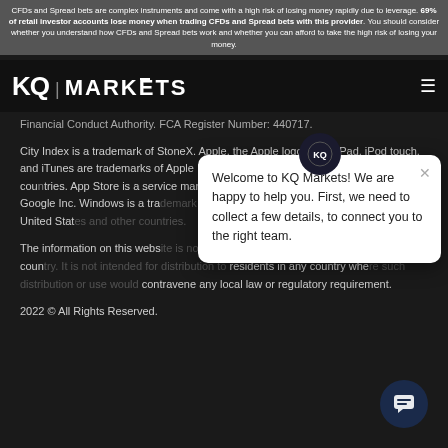CFDs and Spread bets are complex instruments and come with a high risk of losing money rapidly due to leverage. 69% of retail investor accounts lose money when trading CFDs and Spread bets with this provider. You should consider whether you understand how CFDs and Spread bets work and whether you can afford to take the high risk of losing your money.
[Figure (logo): KQ Markets logo with hamburger menu icon on dark background]
Financial Conduct Authority. FCA Register Number: 440717.
City Index is a trademark of StoneX. Apple, the Apple logo, iPod, iPad, iPod touch, and iTunes are trademarks of Apple Inc., registered in the United States and other countries. App Store is a service mark of Apple Inc. Android is a trademark of Google Inc. Windows is a trademark of Microsoft Corporation, registered in the United States and other countries.
The information on this website is not directed at the general public of any particular country. It is not intended for distribution to residents in any country where such distribution or use would contravene any local law or regulatory requirement.
2022 © All Rights Reserved.
[Figure (screenshot): Chat popup saying: Welcome to KQ Markets! We are happy to help you. First, we need to collect a few details, to connect you to the right team.]